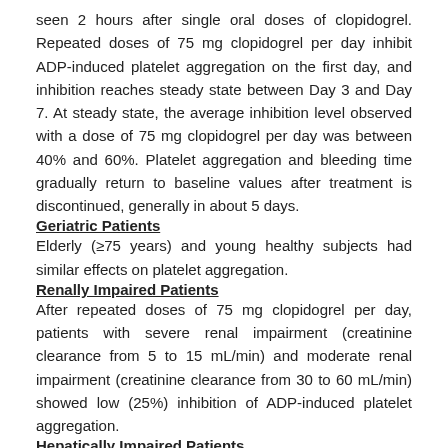seen 2 hours after single oral doses of clopidogrel. Repeated doses of 75 mg clopidogrel per day inhibit ADP-induced platelet aggregation on the first day, and inhibition reaches steady state between Day 3 and Day 7. At steady state, the average inhibition level observed with a dose of 75 mg clopidogrel per day was between 40% and 60%. Platelet aggregation and bleeding time gradually return to baseline values after treatment is discontinued, generally in about 5 days.
Geriatric Patients
Elderly (≥75 years) and young healthy subjects had similar effects on platelet aggregation.
Renally Impaired Patients
After repeated doses of 75 mg clopidogrel per day, patients with severe renal impairment (creatinine clearance from 5 to 15 mL/min) and moderate renal impairment (creatinine clearance from 30 to 60 mL/min) showed low (25%) inhibition of ADP-induced platelet aggregation.
Hepatically Impaired Patients
After repeated doses of 75 mg clopidogrel per day for 10